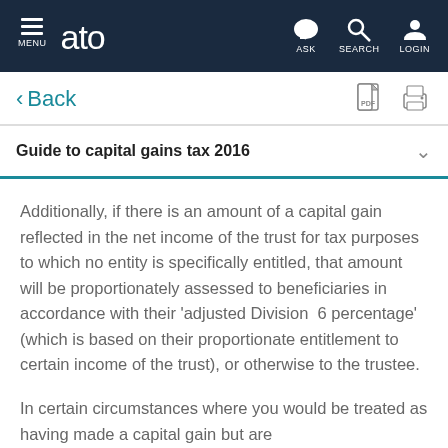MENU | ato | ASK | SEARCH | LOGIN
< Back
Guide to capital gains tax 2016
Additionally, if there is an amount of a capital gain reflected in the net income of the trust for tax purposes to which no entity is specifically entitled, that amount will be proportionately assessed to beneficiaries in accordance with their 'adjusted Division 6 percentage' (which is based on their proportionate entitlement to certain income of the trust), or otherwise to the trustee.
In certain circumstances where you would be treated as having made a capital gain but are